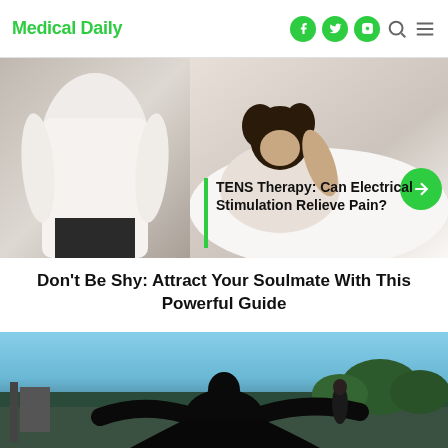Medical Daily
[Figure (photo): Two-panel image: left shows person's back in white shirt; right shows woman with curly hair resting head on hand looking distressed, with green arrow button overlay and TENS therapy title card]
TENS Therapy: Can Electrical Stimulation Relieve Pain?
Don't Be Shy: Attract Your Soulmate With This Powerful Guide
[Figure (photo): Person in black coat with arms outstretched on rooftop, another person in background, outdoor urban setting with trees and blue sky]